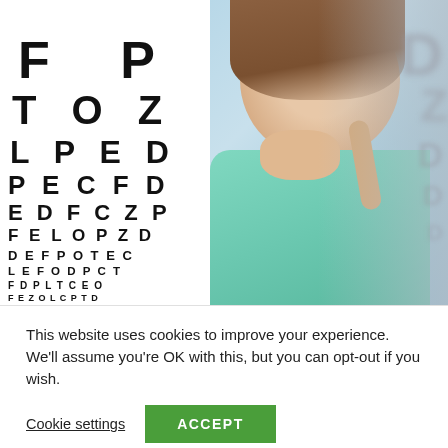[Figure (photo): Eye test chart (Snellen chart) with rows of letters F P, T O Z, L P E D, P E C F D, E D F C Z P, F E L O P Z D, D E F P O T E C, L E F O D P C T, F D P L T C E O, F E Z O L C P T D with row numbers 2-11, beside a young woman in a teal top smiling, overlaid on a blurred eye chart background.]
This website uses cookies to improve your experience. We'll assume you're OK with this, but you can opt-out if you wish.
Cookie settings
ACCEPT